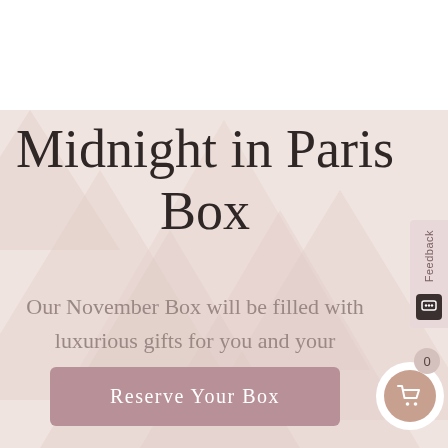Midnight in Paris Box
Our November Box will be filled with luxurious gifts for you and your home!
Reserve Your Box
Feedback